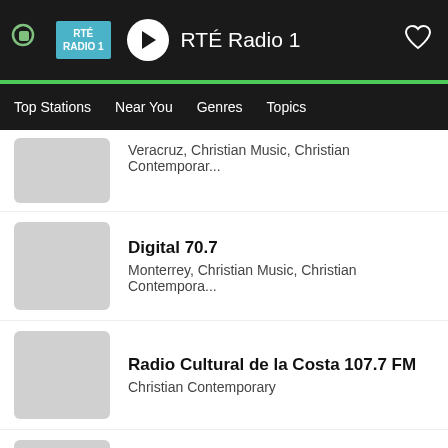RTÉ Radio 1
Top Stations | Near You | Genres | Topics
Veracruz, Christian Music, Christian Contemporary...
Digital 70.7 — Monterrey, Christian Music, Christian Contempora...
Radio Cultural de la Costa 107.7 FM — Christian Contemporary
Nuevo Avivamiento Radio — Puebla, Christian Music, Christian Contemporary